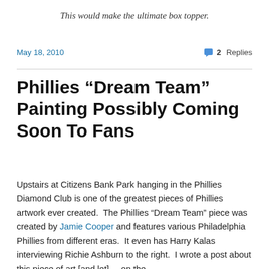This would make the ultimate box topper.
May 18, 2010
2 Replies
Phillies “Dream Team” Painting Possibly Coming Soon To Fans
Upstairs at Citizens Bank Park hanging in the Phillies Diamond Club is one of the greatest pieces of Phillies artwork ever created.  The Phillies “Dream Team” piece was created by Jamie Cooper and features various Philadelphia Phillies from different eras.  It even has Harry Kalas interviewing Richie Ashburn to the right.  I wrote a post about this piece of art [but] ...